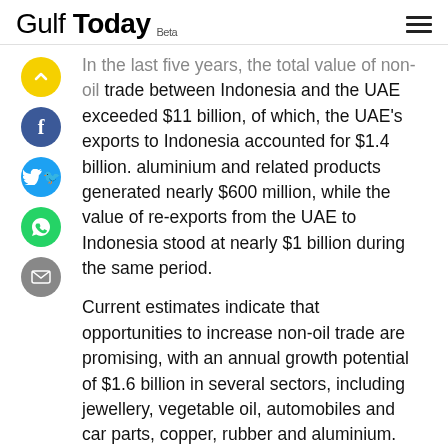Gulf Today Beta
In the last five years, the total value of non-oil trade between Indonesia and the UAE exceeded $11 billion, of which, the UAE's exports to Indonesia accounted for $1.4 billion. aluminium and related products generated nearly $600 million, while the value of re-exports from the UAE to Indonesia stood at nearly $1 billion during the same period.
Current estimates indicate that opportunities to increase non-oil trade are promising, with an annual growth potential of $1.6 billion in several sectors, including jewellery, vegetable oil, automobiles and car parts, copper, rubber and aluminium.